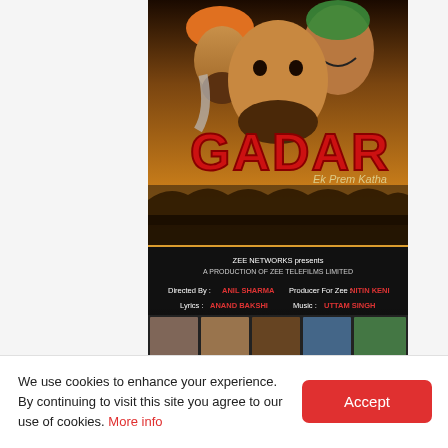[Figure (photo): Gadar: Ek Prem Katha (2001) Bollywood movie poster showing main characters, the title 'GADAR' in large red text, filmmaker credits (Directed By: Anil Sharma, Producer For Zee: Nitin Keni, Lyrics: Anand Bakshi, Music: Uttam Singh). Below the poster is a dark overlay bar with red badge '1' and text 'Super Blockbuster'. A row of navigation dots appears below the poster.]
We use cookies to enhance your experience. By continuing to visit this site you agree to our use of cookies. More info